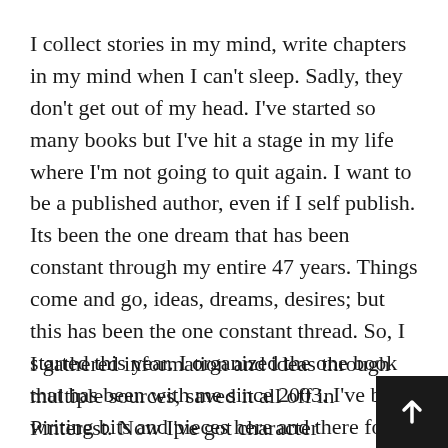I collect stories in my mind, write chapters in my mind when I can't sleep. Sadly, they don't get out of my head. I've started so many books but I've hit a stage in my life where I'm not going to quit again. I want to be a published author, even if I self publish. Its been the one dream that has been constant through my entire 47 years. Things come and go, ideas, dreams, desires; but this has been the one constant thread. So, I started this year. I organized the one book that has been with me since 2003. I've been writing bits and pieces here and there for years. Thought I had more than I did because of those chapters composed at 3am on a Thursday that got swept to the back of my mind.
I gathered information and ideas through multiple sources, saved it all off in Pinterest. Now I've got character development done, outline complete and j broke the 10,000 words written mark. I'm going to d…